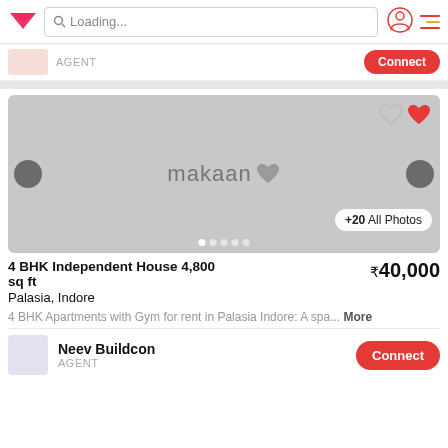Loading...
AGENT  Connect
[Figure (screenshot): Makaan.com property listing image placeholder with grey background, makaan logo with heart, navigation arrows, favorite hearts, dots indicator, and +20 All Photos button]
4 BHK Independent House 4,800 sq ft   ₹40,000
Palasia, Indore
4 BHK Apartments with Gym for rent in Palasia Indore:  A spa... More
Neev Buildcon
AGENT  Connect